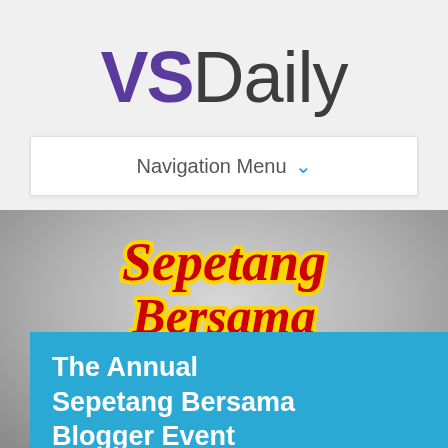[Figure (logo): VSDaily website logo with 'VS' in purple and 'Daily' in dark gray]
Navigation Menu ▾
[Figure (logo): Sepetang Bersama event logo with red script text on yellow background]
The Annual Sepetang Bersama Blogger Event